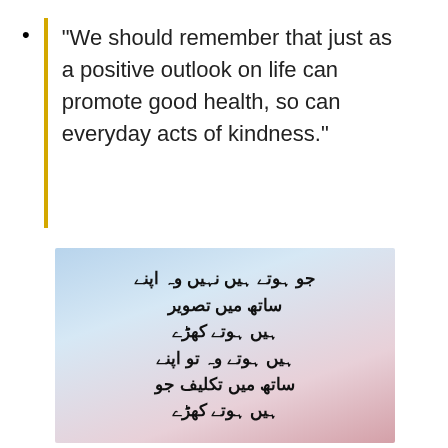“We should remember that just as a positive outlook on life can promote good health, so can everyday acts of kindness.”
[Figure (illustration): Image with gradient blue-to-pink background containing Urdu text in bold black Nastaliq-style font. The Urdu text reads: جو ہوتے ہیں نہیں وہ اپنے | تصویر میں ساتھ | کھڑے ہوتے ہیں | اپنے تو وہ ہوتے ہیں | جو تکلیف میں ساتھ | کھڑے ہوتے ہیں]